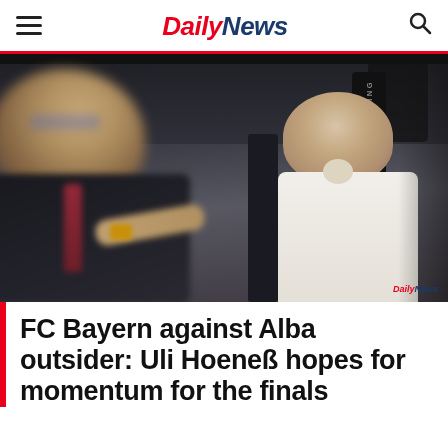Daily News
[Figure (photo): Two men sitting in stadium seats. In the foreground on the left is a blurred man in a dark suit with glasses and a red tie, pointing his finger. On the right, in focus, is an older man in a white shirt (Uli Hoeneß) sitting in a chair with a Spalding logo visible on the seat back behind him.]
FC Bayern against Alba outsider: Uli Hoeneß hopes for momentum for the finals